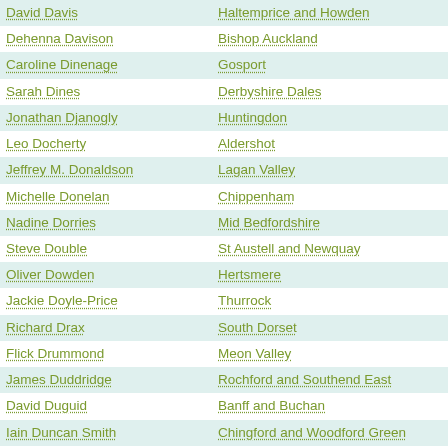| Name | Constituency |
| --- | --- |
| David Davis | Haltemprice and Howden |
| Dehenna Davison | Bishop Auckland |
| Caroline Dinenage | Gosport |
| Sarah Dines | Derbyshire Dales |
| Jonathan Djanogly | Huntingdon |
| Leo Docherty | Aldershot |
| Jeffrey M. Donaldson | Lagan Valley |
| Michelle Donelan | Chippenham |
| Nadine Dorries | Mid Bedfordshire |
| Steve Double | St Austell and Newquay |
| Oliver Dowden | Hertsmere |
| Jackie Doyle-Price | Thurrock |
| Richard Drax | South Dorset |
| Flick Drummond | Meon Valley |
| James Duddridge | Rochford and Southend East |
| David Duguid | Banff and Buchan |
| Iain Duncan Smith | Chingford and Woodford Green |
| Philip Dunne | Ludlow |